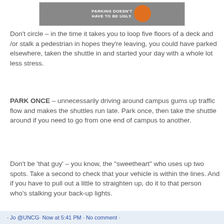[Figure (photo): Partial image of a parking-related sign reading 'PARKING DOESN'T HAVE TO BE UGLY.' with an orange hard-hat or cone visible on the right side.]
Don't circle – in the time it takes you to loop five floors of a deck and /or stalk a pedestrian in hopes they're leaving, you could have parked elsewhere, taken the shuttle in and started your day with a whole lot less stress.
PARK ONCE – unnecessarily driving around campus gums up traffic flow and makes the shuttles run late. Park once, then take the shuttle around if you need to go from one end of campus to another.
Don't be 'that guy' – you know, the "sweetheart" who uses up two spots. Take a second to check that your vehicle is within the lines. And if you have to pull out a little to straighten up, do it to that person who's stalking your back-up lights.
Don't get mad; get smart.
· Jo @UNCG· Now at 5:41 PM · No comment ·